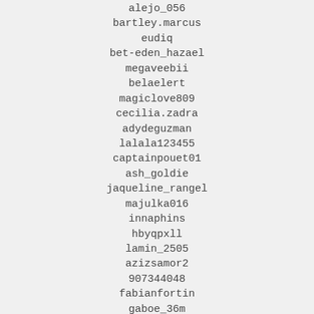alejo_056
bartley.marcus
eudiq
bet-eden_hazael
megaveebii
belaelert
magiclove809
cecilia.zadra
adydeguzman
lalala123455
captainpouet01
ash_goldie
jaqueline_rangel
majulka016
innaphins
hbyqpxll
lamin_2505
azizsamor2
907344048
fabianfortin
gaboe_36m
alab10080
judyballard2144
kempfthomas
lilsawn